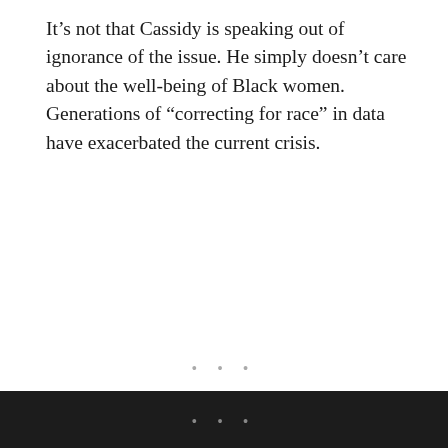It’s not that Cassidy is speaking out of ignorance of the issue. He simply doesn’t care about the well-being of Black women. Generations of “correcting for race” in data have exacerbated the current crisis.
Rep. Gwen Moore called out Cassidy, noting that he’s also a doctor. Given his medical background, his comment